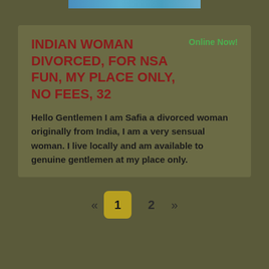[Figure (screenshot): Top banner image strip with blue/teal gradient tones]
INDIAN WOMAN DIVORCED, FOR NSA FUN, MY PLACE ONLY, NO FEES, 32
Online Now!
Hello Gentlemen I am Safia a divorced woman originally from India, I am a very sensual woman. I live locally and am available to genuine gentlemen at my place only.
« 1 2 »